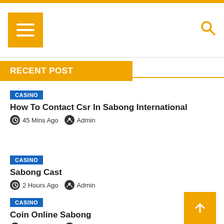RECENT POST
CASINO | How To Contact Csr In Sabong International | 45 Mins Ago Admin
CASINO | Sabong Cast | 2 Hours Ago Admin
CASINO | Coin Online Sabong | 2 Hours Ago Admin